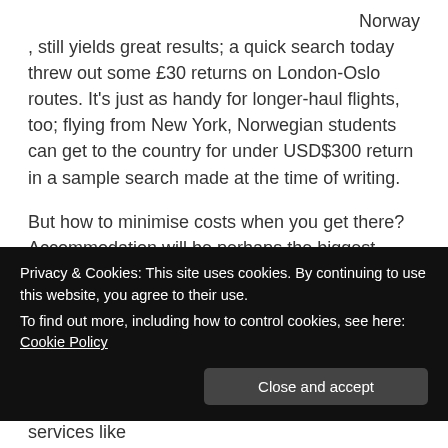Norway, still yields great results; a quick search today threw out some £30 returns on London-Oslo routes. It's just as handy for longer-haul flights, too; flying from New York, Norwegian students can get to the country for under USD$300 return in a sample search made at the time of writing.
But how to minimise costs when you get there? Accommodation will be perhaps the biggest expense on the tick-list. It's no big secret that, for value, you can't really beat private rental services like AirBnB. Combining with the sample Polish flight search above
Privacy & Cookies: This site uses cookies. By continuing to use this website, you agree to their use.
To find out more, including how to control cookies, see here: Cookie Policy
But there are more benefits to using these services like